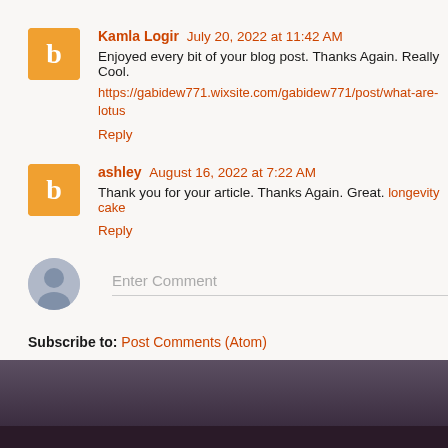Kamla Logir  July 20, 2022 at 11:42 AM
Enjoyed every bit of your blog post. Thanks Again. Really Cool.
https://gabidew771.wixsite.com/gabidew771/post/what-are-lotus
Reply
ashley  August 16, 2022 at 7:22 AM
Thank you for your article. Thanks Again. Great. longevity cake
Reply
Enter Comment
Subscribe to: Post Comments (Atom)